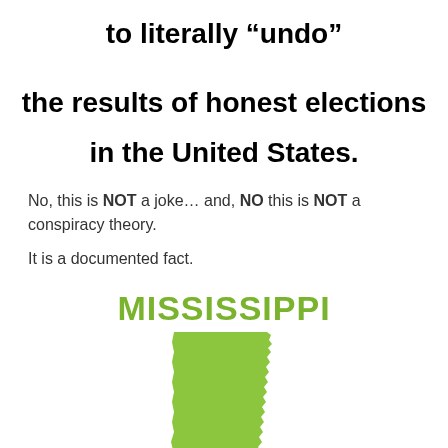to literally “undo” the results of honest elections in the United States.
No, this is NOT a joke… and, NO this is NOT a conspiracy theory.
It is a documented fact.
[Figure (illustration): Green silhouette map of Mississippi state with the word MISSISSIPPI above it in bold green text]